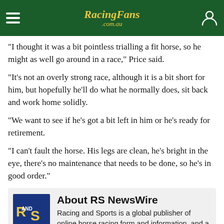RacingFans.com.au
“I thought it was a bit pointless trialling a fit horse, so he might as well go around in a race,” Price said.
“It’s not an overly strong race, although it is a bit short for him, but hopefully he’ll do what he normally does, sit back and work home solidly.
“We want to see if he’s got a bit left in him or he’s ready for retirement.
“I can’t fault the horse. His legs are clean, he’s bright in the eye, there’s no maintenance that needs to be done, so he’s in good order.”
About RS NewsWire
Racing and Sports is a global publisher of online horse racing form and information, and a leader in